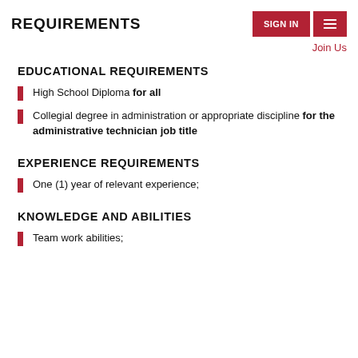REQUIREMENTS
SIGN IN
Join Us
EDUCATIONAL REQUIREMENTS
High School Diploma for all
Collegial degree in administration or appropriate discipline for the administrative technician job title
EXPERIENCE REQUIREMENTS
One (1) year of relevant experience;
KNOWLEDGE AND ABILITIES
Team work abilities;